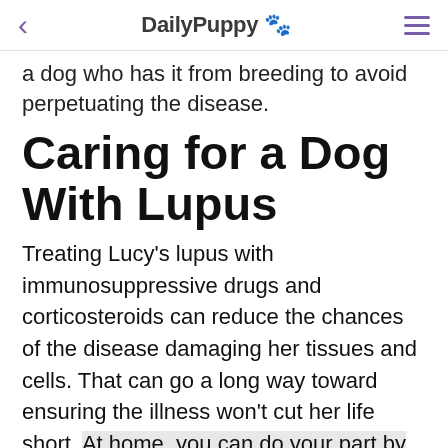< DailyPuppy 🐾 ≡
a dog who has it from breeding to avoid perpetuating the disease.
Caring for a Dog With Lupus
Treating Lucy's lupus with immunosuppressive drugs and corticosteroids can reduce the chances of the disease damaging her tissues and cells. That can go a long way toward ensuring the illness won't cut her life short. At home, you can do your part by encouraging rest during her flare-ups, even